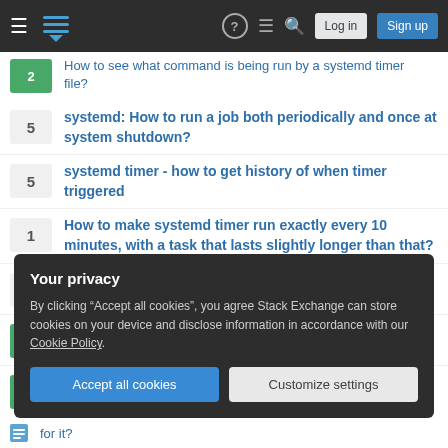Stack Exchange navigation bar with hamburger menu, logo, help, chat, search icons, Log in and Sign up buttons
2 — How to see what command is being run by a systemd timer file?
5 — systemd: How to run a job both periodically and once at system shutdown?
5 — systemd timer - how to get history of when timer triggered
1 — How to make systemd timer run exactly every 10 minutes, with a task that lasts slightly longer than that?
1 — systemd: Retrying a timer
1 — How systemd timer work?
1 — Trying to stop systemd timers from triggering missed events
Your privacy
By clicking "Accept all cookies", you agree Stack Exchange can store cookies on your device and disclose information in accordance with our Cookie Policy.
Accept all cookies | Customize settings
for it?